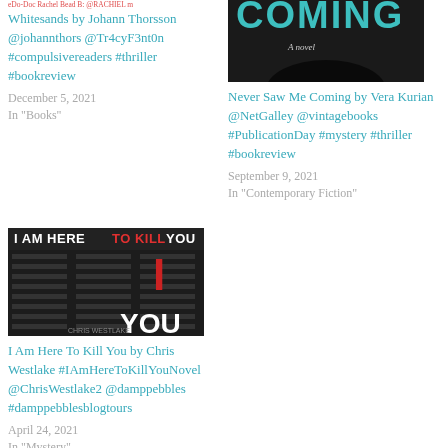[Figure (photo): Book cover image partially visible at top left, clipped]
Whitesands by Johann Thorsson @johannthors @Tr4cyF3nt0n #compulsivereaders #thriller #bookreview
December 5, 2021
In "Books"
[Figure (photo): Book cover for Never Saw Me Coming, dark image with face partially visible, text 'COMING' visible at top]
Never Saw Me Coming by Vera Kurian @NetGalley @vintagebooks #PublicationDay #mystery #thriller #bookreview
September 9, 2021
In "Contemporary Fiction"
[Figure (photo): Book cover for I Am Here To Kill You by Chris Westlake, dark background with bold red and white text]
I Am Here To Kill You by Chris Westlake #IAmHereToKillYouNovel @ChrisWestlake2 @damppebbles #damppebblesblogtours
April 24, 2021
In "Mystery"